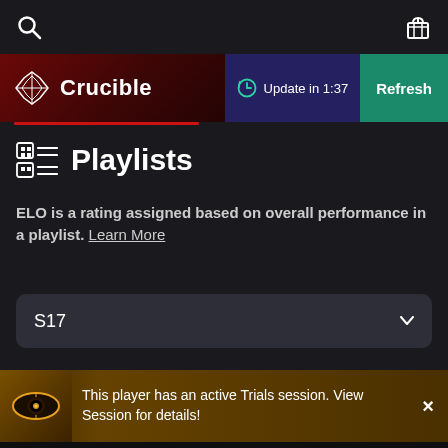[Figure (screenshot): Top navigation bar with search icon on left and gift/present icon on right on dark background]
Crucible
Update in 1:37
Refresh
Playlists
ELO is a rating assigned based on overall performance in a playlist. Learn More
S17
This player has an active Trials session. View Session for details!
Home  My Profile  Leaderboards  Database  More